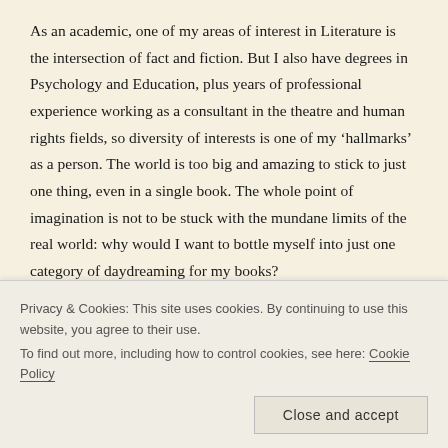As an academic, one of my areas of interest in Literature is the intersection of fact and fiction. But I also have degrees in Psychology and Education, plus years of professional experience working as a consultant in the theatre and human rights fields, so diversity of interests is one of my ‘hallmarks’ as a person. The world is too big and amazing to stick to just one thing, even in a single book. The whole point of imagination is not to be stuck with the mundane limits of the real world: why would I want to bottle myself into just one category of daydreaming for my books?
The other part of the answer is that a lot of my work reflects my interest in human rights and the ethical issues attendant in writing fiction. I believe that difficult subjects can (and often should) be
Privacy & Cookies: This site uses cookies. By continuing to use this website, you agree to their use.
To find out more, including how to control cookies, see here: Cookie Policy
Close and accept
properly when we write about real events in real locations that are